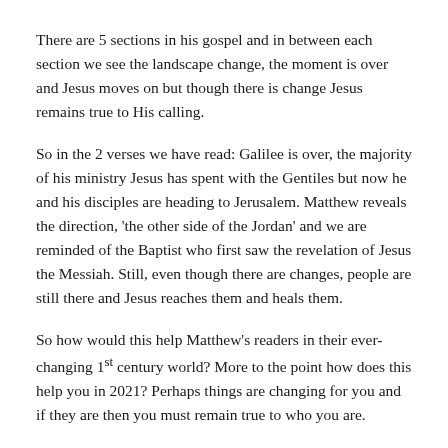There are 5 sections in his gospel and in between each section we see the landscape change, the moment is over and Jesus moves on but though there is change Jesus remains true to His calling.
So in the 2 verses we have read: Galilee is over, the majority of his ministry Jesus has spent with the Gentiles but now he and his disciples are heading to Jerusalem. Matthew reveals the direction, 'the other side of the Jordan' and we are reminded of the Baptist who first saw the revelation of Jesus the Messiah. Still, even though there are changes, people are still there and Jesus reaches them and heals them.
So how would this help Matthew's readers in their ever-changing 1st century world? More to the point how does this help you in 2021? Perhaps things are changing for you and if they are then you must remain true to who you are.